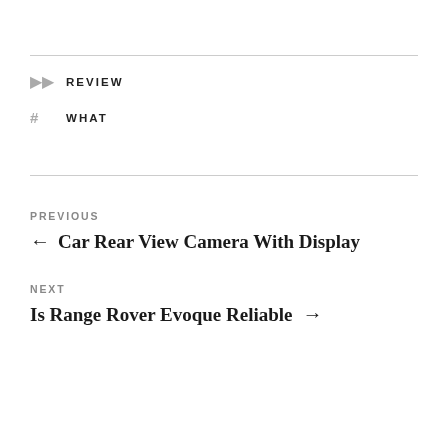REVIEW
WHAT
PREVIOUS
← Car Rear View Camera With Display
NEXT
Is Range Rover Evoque Reliable →